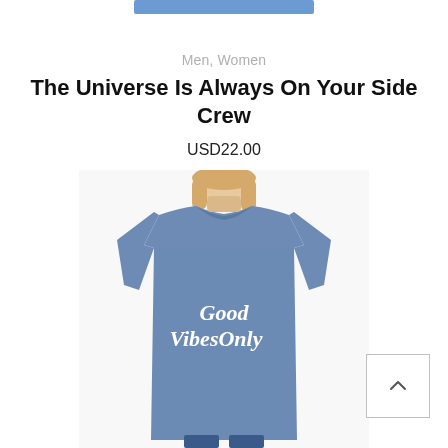Men, Women
The Universe Is Always On Your Side Crew
USD22.00
[Figure (photo): A woman wearing a heather blue crew-neck t-shirt with white 'Good Vibes Only' decorative text printed on the chest. The model has blonde hair and is shown from the neck down. The background is white.]